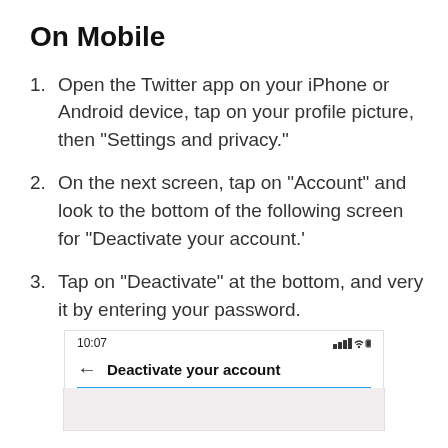On Mobile
Open the Twitter app on your iPhone or Android device, tap on your profile picture, then “Settings and privacy.”
On the next screen, tap on “Account” and look to the bottom of the following screen for “Deactivate your account.’
Tap on “Deactivate” at the bottom, and very it by entering your password.
[Figure (screenshot): Mobile phone screenshot showing a screen titled 'Deactivate your account' with a status bar showing 10:07 time and signal icons, a back arrow, and a blurred content area below.]